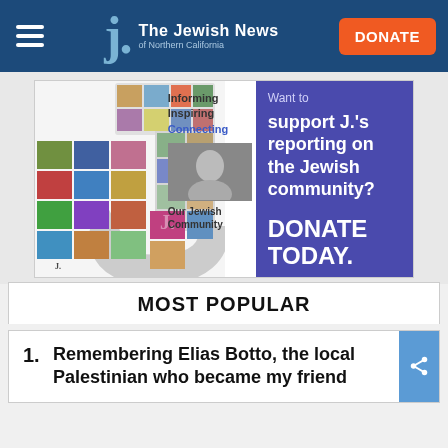The Jewish News of Northern California — DONATE
[Figure (infographic): Advertisement banner for J. The Jewish News of Northern California. Left side shows a collage J-shape with text: Informing, Inspiring, Connecting, Our Jewish Community. Right side purple panel: Want to support J.'s reporting on the Jewish community? DONATE TODAY.]
MOST POPULAR
1. Remembering Elias Botto, the local Palestinian who became my friend